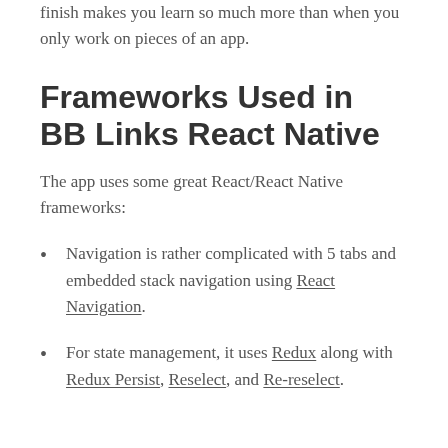finish makes you learn so much more than when you only work on pieces of an app.
Frameworks Used in BB Links React Native
The app uses some great React/React Native frameworks:
Navigation is rather complicated with 5 tabs and embedded stack navigation using React Navigation.
For state management, it uses Redux along with Redux Persist, Reselect, and Re-reselect.